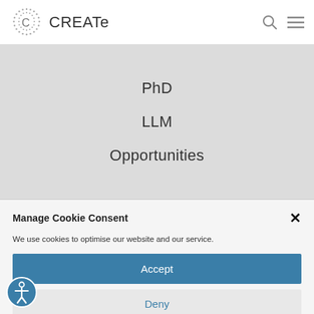CREATe
PhD
LLM
Opportunities
Manage Cookie Consent
We use cookies to optimise our website and our service.
Accept
Deny